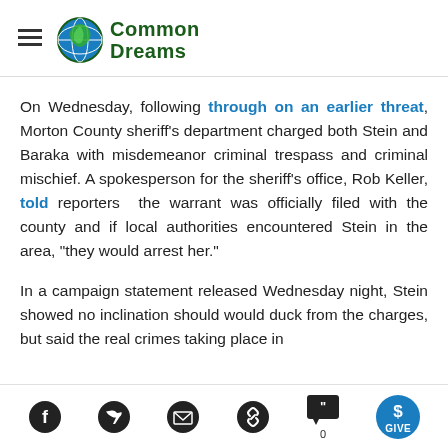Common Dreams
On Wednesday, following through on an earlier threat, Morton County sheriff's department charged both Stein and Baraka with misdemeanor criminal trespass and criminal mischief. A spokesperson for the sheriff's office, Rob Keller, told reporters  the warrant was officially filed with the county and if local authorities encountered Stein in the area, "they would arrest her."
In a campaign statement released Wednesday night, Stein showed no inclination should would duck from the charges, but said the real crimes taking place in North Dakota...
Social share icons: Facebook, Twitter, Email, Link, Comments (0), Give